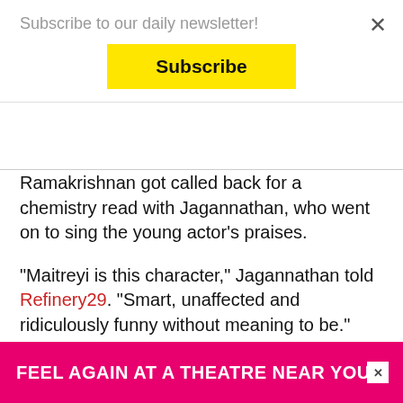Subscribe to our daily newsletter!
Subscribe
Ramakrishnan got called back for a chemistry read with Jagannathan, who went on to sing the young actor’s praises.
“Maitreyi is this character,” Jagannathan told Refinery29. “Smart, unaffected and ridiculously funny without meaning to be.”
In May, Ramakrishnan’s agent told her they needed to meet for an important phone call at 9 pm.
“She made it seem like there was some technical stuff to do w… agent w… er. And
[Figure (infographic): Pink/magenta advertisement banner reading FEEL AGAIN AT A THEATRE NEAR YOU. with a white X close button on the right side.]